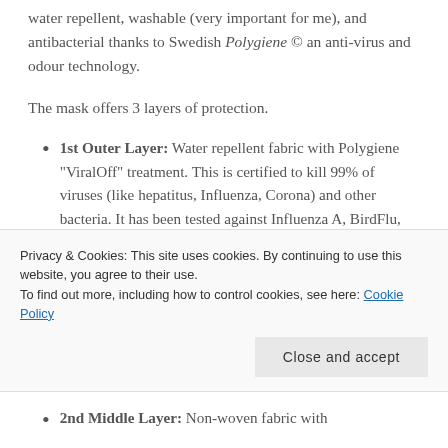water repellent, washable (very important for me), and antibacterial thanks to Swedish Polygiene © an anti-virus and odour technology.
The mask offers 3 layers of protection.
1st Outer Layer: Water repellent fabric with Polygiene “ViralOff” treatment. This is certified to kill 99% of viruses (like hepatitus, Influenza, Corona) and other bacteria. It has been tested against Influenza A, BirdFlu, Norovirus and Corona
Privacy & Cookies: This site uses cookies. By continuing to use this website, you agree to their use.
To find out more, including how to control cookies, see here: Cookie Policy
2nd Middle Layer: Non-woven fabric with